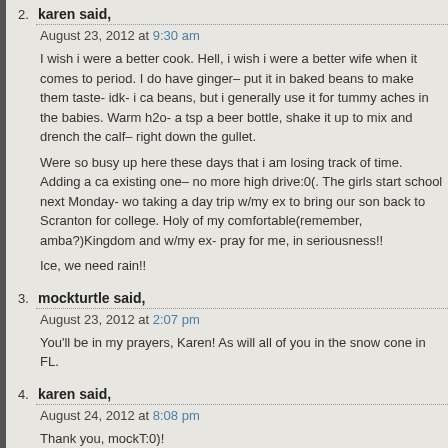2. karen said,
August 23, 2012 at 9:30 am
I wish i were a better cook. Hell, i wish i were a better wife when it comes to period. I do have ginger– put it in baked beans to make them taste- idk- i ca beans, but i generally use it for tummy aches in the babies. Warm h2o- a ts a beer bottle, shake it up to mix and drench the calf– right down the gullet.
Were so busy up here these days that i am losing track of time. Adding a ca existing one– no more high drive:0(. The girls start school next Monday- wo taking a day trip w/my ex to bring our son back to Scranton for college. Hol of my comfortable(remember, amba?)Kingdom and w/my ex- pray for me, in seriousness!!
Ice, we need rain!!
3. mockturtle said,
August 23, 2012 at 2:07 pm
You'll be in my prayers, Karen! As will all of you in the snow cone in FL.
4. karen said,
August 24, 2012 at 8:08 pm
Thank you, mockT:0)!